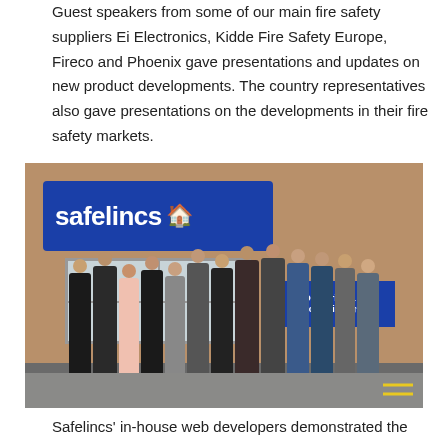Guest speakers from some of our main fire safety suppliers Ei Electronics, Kidde Fire Safety Europe, Fireco and Phoenix gave presentations and updates on new product developments. The country representatives also gave presentations on the developments in their fire safety markets.
[Figure (photo): Group photo of approximately 13 people standing outside the Safelincs building. A large blue Safelincs sign is visible on the brick wall behind them, along with a blue 'Deliveries & Collections' sign with an arrow.]
Safelincs' in-house web developers demonstrated the